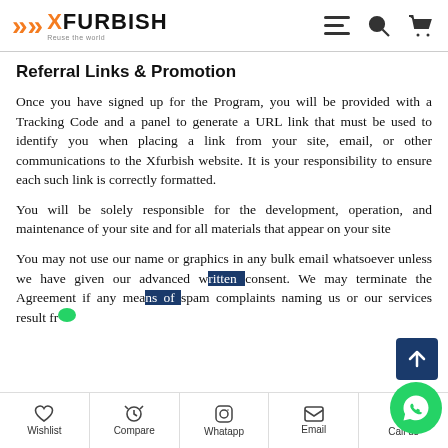Xfurbish — Reuse the world
Referral Links & Promotion
Once you have signed up for the Program, you will be provided with a Tracking Code and a panel to generate a URL link that must be used to identify you when placing a link from your site, email, or other communications to the Xfurbish website. It is your responsibility to ensure each such link is correctly formatted.
You will be solely responsible for the development, operation, and maintenance of your site and for all materials that appear on your site
You may not use our name or graphics in any bulk email whatsoever unless we have given our advanced written consent. We may terminate the Agreement if any means of spam complaints naming us or our services result fr…
Wishlist | Compare | Whatapp | Email | Call us